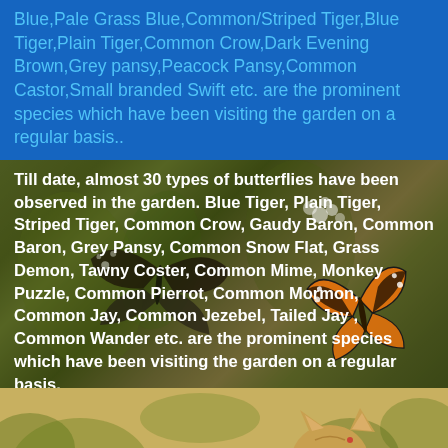Blue,Pale Grass Blue,Common/Striped Tiger,Blue Tiger,Plain Tiger,Common Crow,Dark Evening Brown,Grey pansy,Peacock Pansy,Common Castor,Small branded Swift etc. are the prominent species which have been visiting the garden on a regular basis..
Till date, almost 30 types of butterflies have been observed in the garden. Blue Tiger, Plain Tiger, Striped Tiger, Common Crow, Gaudy Baron, Common Baron, Grey Pansy, Common Snow Flat, Grass Demon, Tawny Coster, Common Mime, Monkey Puzzle, Common Pierrot, Common Mormon, Common Jay, Common Jezebel, Tailed Jay , Common Wander etc. are the prominent species which have been visiting the garden on a regular basis.
[Figure (photo): A cat looking at the camera in an outdoor garden setting with blurred green and golden background]